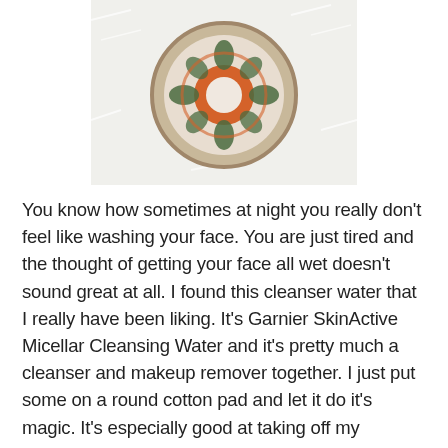[Figure (photo): A round compact or bowl with an orange and white decorative design, placed on a white fluffy surface, photographed from above. Only the bottom portion of the image is visible.]
You know how sometimes at night you really don't feel like washing your face. You are just tired and the thought of getting your face all wet doesn't sound great at all.  I found this cleanser water that I really have been liking.  It's Garnier SkinActive Micellar Cleansing Water and it's pretty much a cleanser and makeup remover together.  I just put some on a round cotton pad and let it do it's magic. It's especially good at taking off my waterproof mascara.